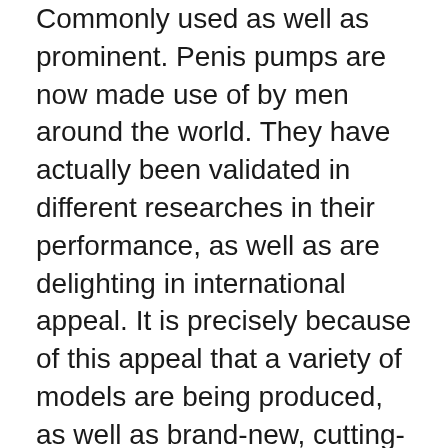Commonly used as well as prominent. Penis pumps are now made use of by men around the world. They have actually been validated in different researches in their performance, as well as are delighting in international appeal. It is precisely because of this appeal that a variety of models are being produced, as well as brand-new, cutting-edge penis pumps are being developed time after time.
All of the pumps we pick deal with the same principle– comparable to a training gadget for any part of the body. Initially, you wrap your penis airtight by donning, and after that get rid of the air from the enclosed room by pumping it till a vacuum is created. The resulting vacuum boosts the blood supply to